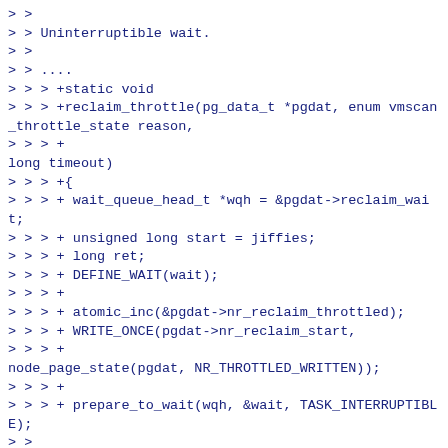> >
> > Uninterruptible wait.
> >
> > ....
> > > +static void
> > > +reclaim_throttle(pg_data_t *pgdat, enum vmscan_throttle_state reason,
> > > +
long timeout)
> > > +{
> > > + wait_queue_head_t *wqh = &pgdat->reclaim_wait;
> > > + unsigned long start = jiffies;
> > > + long ret;
> > > + DEFINE_WAIT(wait);
> > > +
> > > + atomic_inc(&pgdat->nr_reclaim_throttled);
> > > + WRITE_ONCE(pgdat->nr_reclaim_start,
> > > +
node_page_state(pgdat, NR_THROTTLED_WRITTEN));
> > > +
> > > + prepare_to_wait(wqh, &wait, TASK_INTERRUPTIBLE);
> >
> > Interruptible wait.